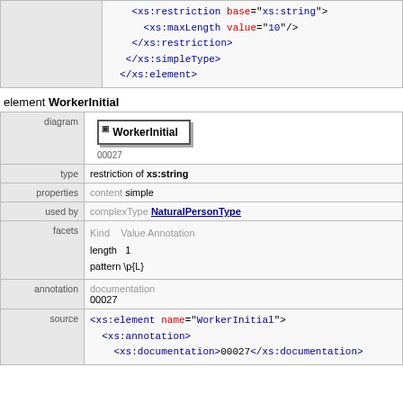|  | source continuation |
| --- | --- |
|  | <xs:restriction base="xs:string">
<xs:maxLength value="10"/>
</xs:restriction>
</xs:simpleType>
</xs:element> |
element WorkerInitial
| diagram | type | properties | used by | facets | annotation | source |
| --- | --- | --- | --- | --- | --- | --- |
| diagram | WorkerInitial
00027 |
| type | restriction of xs:string |
| properties | content simple |
| used by | complexType NaturalPersonType |
| facets | Kind  Value Annotation
length  1
pattern \p{L} |
| annotation | documentation
00027 |
| source | <xs:element name="WorkerInitial">
<xs:annotation>
<xs:documentation>00027</xs:documentation> |